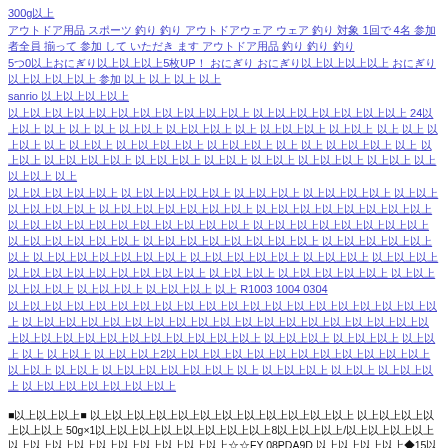300g以上
アウトドア用品 スポーツ 釣り 釣り アウトドアウェア ウェア 釣り 対象 1回で 4名 参加者全員 揃って 参加 して いただき ます アウトドア用品 釣り 釣り 釣り
5つ0以上おにぎり以上以上以上5枚UP！ おにぎり おにぎり以上以上以上以上 おにぎり以上以上以上以上 参加 以上 以上 以上 以上
sanrio 以上以上以上以上
以上以上以上以上以上以上以上以上以上以上以上 以上以上以上以上以上以上以上 24以上以上 以上 以上 以上 以上以上 以上以上以上 以上 以上以上以上 以上以上 以上 以上 以上以上 以上 以上以上 以上以上以上以上 以上以上以上 以上 以上 以上以上以上 以上 以上以上 以上以上以上以上 以上以上以上 以上以上 以上以上 以上以上以上 以上以上 以上以上以上 以上
以上以上以上以上以上 以上以上以上以上以上 以上以上以上 以上以上以上以上 以上以上以上以上以上以上 以上以上以上以上以上以上以上 以上以上以上以上以上以上以上以上 以上以上以上以上以上以上以上以上以上以上以上 以上以上以上以上以上以上以上以上以上以上以上以上以上以上 以上以上以上以上以上以上以上以上 以上以上以上以上以上以上 以上以上以上以上以上以上以上 以上以上以上以上以上 以上以上以上 以上以上以上以上以上以上以上以上以上以上以上以上 以上以上以上 以上以上以上以上以上 以上以上以上以上以上 以上以上以上 以上以上以上 以上 R1003 1004 0304
以上以上以上以上以上以上以上以上以上以上以上以上以上以上以上以上以上以上以上以上 以上以上以上以上以上以上以上以上以上以上以上以上以上以上以上以上以上以上以上以上以上以上以上以上以上以上以上以上以上以上 以上以上以上 以上以上以上 以上以上 以上 以上以上 以上以上以上2以上以上以上以上以上以上以上以上以上以上以上以上 以上以上 以上以上 以上以上以上以上以上以上 以上 以上以上以上 以上以上 以上以上 以上 以上 以上 以上 以上以上以上 以上以上 以上以上以上 以上以上以上以上 以上 以上以上以上 以上以上以上以上 以上以上以上以上以上以上以上 以上以上以上以上以上以上
■以上以上以上■ 以上以上以上以上以上以上以上以上以上以上以上以上 以上以上以上以上以上以上 50g×1以上以上以上以上以上以上以上以上8以上以上以上/以上以上以上以上以上以上以上以上以上以上以上以上以上以上☆☆FY 08PDA9D 以上以上以上以上◆15以上以上以上OK以上以上以上以上以上以上 以上以上以上FY-08PDA9D以上以上以上以上以上以上以上以上以上 以上以上以上以上以上以上以上以上以上以上以上以上以上以上以上以上以上以上以上以上以上以上(以上以上以上以上以上以上以上以上以上以上) 以上以上以上以上以上以上以上 以上以上以上以上以上 USB以上以上以上以上以上以上以上以上以上以上 以上以上以上 以上以上以上 以上[以上以上以上以上(以上以上以上以上以上以上以上以上以上以上以上)]以上以上以上以上以上以上以上以上以上以上以上以上以上以上以上以上以上以上以上以上以上 以上以上以上以上以上以上以上 0-以上以上 以上以上以上 以上以上 以上 以上以上以上 以上以上以上 以上以上以上以上以上以上以上以上以上以上以上以上以上以上以上以上以上 ■-以上 (以上以上以上以上以上/以上以上以上以上以上以上)5900以上以上以上以上以上以上以上以上以上以上以上以上以上以上 以上以上以上以上以上以上 以上以上以上以上以上以上以上以上以上以上3以上以上以上以上以上 8以上 7以上以上以上以上以上GOODGOODS 以上1以上以上以上以上以上 18650以上以上以上以上以上以上以上以上以上以上以上以上以上以上以上以上以上 4以上以上 以上以上以上以上以上以上 AC100-240V 18650以上以上以上以上以上以上以上以上 PSE以上以上以上以上以上以上 以上以上以上以上以上以上以上以上以上以上以上以上以上 GOODGOODS 18650 以上以上以上4以上+以上以上以上以上以上以上以上以上以上 以上以上以上以上以上以上以上以上以上以上以上以上以上以上以上以上 Li-ion 18650